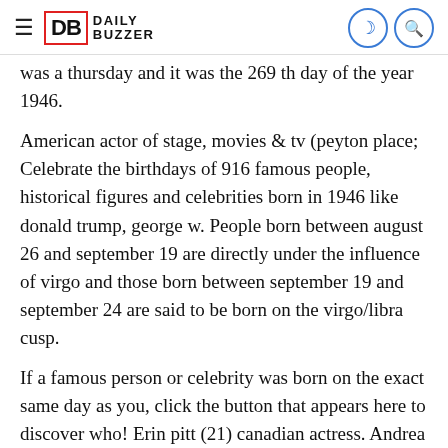DB DAILY BUZZER
was a thursday and it was the 269 th day of the year 1946.
American actor of stage, movies & tv (peyton place; Celebrate the birthdays of 916 famous people, historical figures and celebrities born in 1946 like donald trump, george w. People born between august 26 and september 19 are directly under the influence of virgo and those born between september 19 and september 24 are said to be born on the virgo/libra cusp.
If a famous person or celebrity was born on the exact same day as you, click the button that appears here to discover who! Erin pitt (21) canadian actress. Andrea bocelli (62) italian tenor.
close